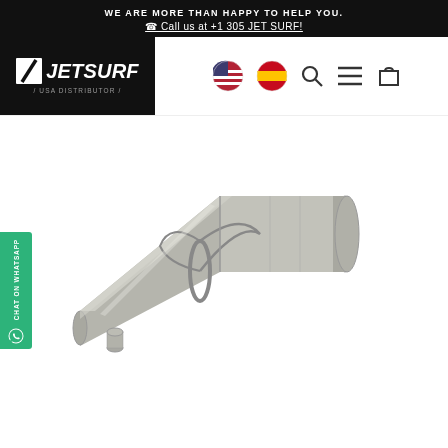WE ARE MORE THAN HAPPY TO HELP YOU. ☎ Call us at +1 305 JET SURF!
[Figure (logo): JETSURF USA Distributor logo in black box with diagonal slash icon]
[Figure (screenshot): Navigation icons: US flag, Spain flag, search icon, menu hamburger, cart icon]
[Figure (photo): JETSURF exhaust pipe / muffler component - metallic silver conical tube with mounting bracket and small side outlet]
CHAT ON WHATSAPP